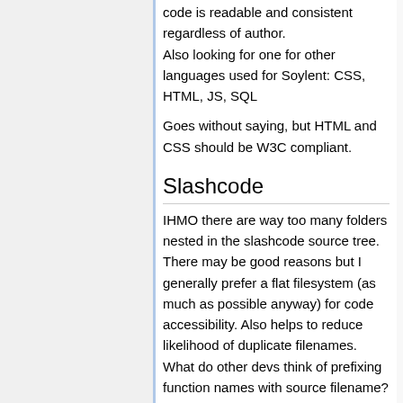code is readable and consistent regardless of author.
Also looking for one for other languages used for Soylent: CSS, HTML, JS, SQL
Goes without saying, but HTML and CSS should be W3C compliant.
Slashcode
IHMO there are way too many folders nested in the slashcode source tree. There may be good reasons but I generally prefer a flat filesystem (as much as possible anyway) for code accessibility. Also helps to reduce likelihood of duplicate filenames. What do other devs think of prefixing function names with source filename?
For example, main() function in article.pl becomes article__main()